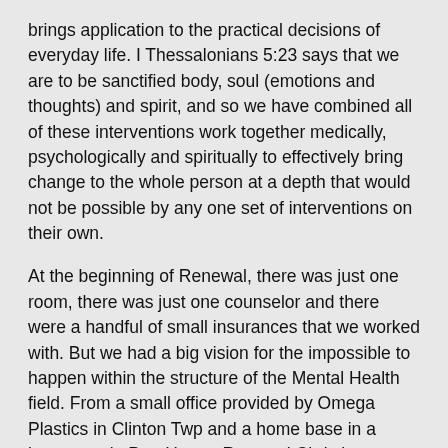brings application to the practical decisions of everyday life. I Thessalonians 5:23 says that we are to be sanctified body, soul (emotions and thoughts) and spirit, and so we have combined all of these interventions work together medically, psychologically and spiritually to effectively bring change to the whole person at a depth that would not be possible by any one set of interventions on their own.
At the beginning of Renewal, there was just one room, there was just one counselor and there were a handful of small insurances that we worked with. But we had a big vision for the impossible to happen within the structure of the Mental Health field. From a small office provided by Omega Plastics in Clinton Twp and a home base in a basement in Port Huron, Renewal Christian Counseling Center was not even in the phone book and did virtually no advertising.